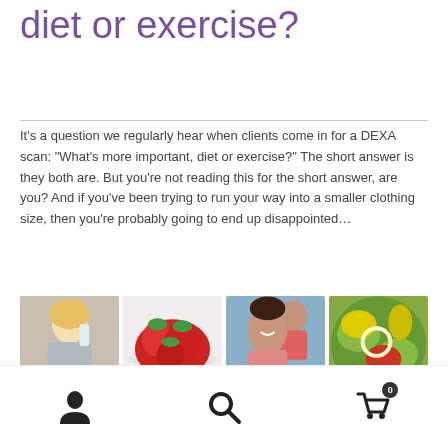diet or exercise?
It’s a question we regularly hear when clients come in for a DEXA scan: “What’s more important, diet or exercise?” The short answer is they both are. But you’re not reading this for the short answer, are you? And if you’ve been trying to run your way into a smaller clothing size, then you’re probably going to end up disappointed…
[Figure (photo): Four photos in a row: woman drinking water from bottle, bowl of strawberries, woman smiling at gym, colorful vegetable salad]
user icon | search icon | cart icon (0)